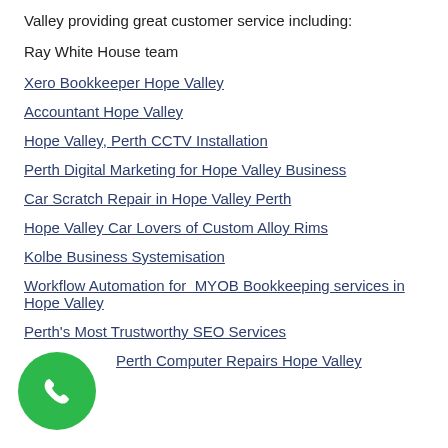Valley providing great customer service including:
Ray White House team
Xero Bookkeeper Hope Valley
Accountant Hope Valley
Hope Valley, Perth CCTV Installation
Perth Digital Marketing for Hope Valley Business
Car Scratch Repair in Hope Valley Perth
Hope Valley Car Lovers of Custom Alloy Rims
Kolbe Business Systemisation
Workflow Automation for  MYOB Bookkeeping services in Hope Valley
Perth's Most Trustworthy SEO Services
Perth Computer Repairs Hope Valley
[Figure (other): Green circular phone call button in bottom left corner]